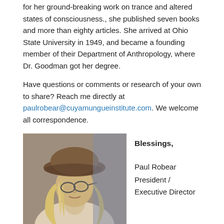for her ground-breaking work on trance and altered states of consciousness., she published seven books and more than eighty articles. She arrived at Ohio State University in 1949, and became a founding member of their Department of Anthropology, where Dr. Goodman got her degree.
Have questions or comments or research of your own to share? Reach me directly at paulrobear@cuyamungueinstitute.com. We welcome all correspondence.
[Figure (photo): Portrait photo of a woman with long blonde hair wearing a brown hat and glasses, shown from below/side angle]
Blessings,

Paul Robear
President / Executive Director
Cuyamungue: The Felicitas D. Goodman Institute
I am happy to share the following news and articles.
In this issue: